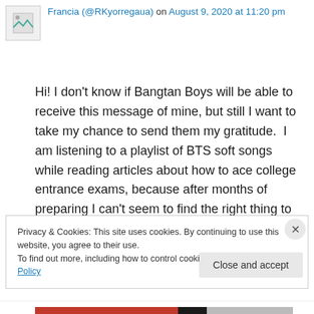Francia (@RKyorregaua) on August 9, 2020 at 11:20 pm
Hi! I don't know if Bangtan Boys will be able to receive this message of mine, but still I want to take my chance to send them my gratitude.  I am listening to a playlist of BTS soft songs while reading articles about how to ace college entrance exams, because after months of preparing I can't seem to find the right thing to do, to make self-studying work. I think my four
Privacy & Cookies: This site uses cookies. By continuing to use this website, you agree to their use.
To find out more, including how to control cookies, see here: Cookie Policy
Close and accept